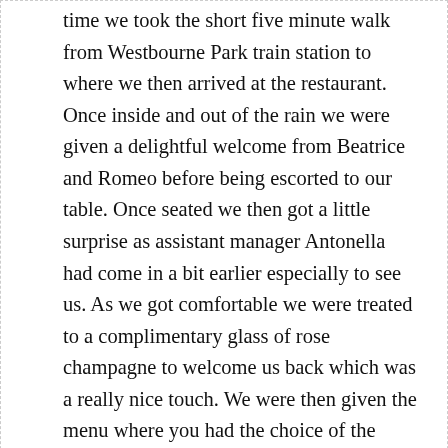time we took the short five minute walk from Westbourne Park train station to where we then arrived at the restaurant. Once inside and out of the rain we were given a delightful welcome from Beatrice and Romeo before being escorted to our table. Once seated we then got a little surprise as assistant manager Antonella had come in a bit earlier especially to see us. As we got comfortable we were treated to a complimentary glass of rose champagne to welcome us back which was a really nice touch. We were then given the menu where you had the choice of the Lunch Menu or our choice of the Tasting Menu that has two dishes in each section.
[Figure (infographic): DuckDuckGo advertisement banner with orange/red background. Text reads 'Search, browse, and email with more privacy.' with 'All in One Free App' button and DuckDuckGo logo with phone graphic.]